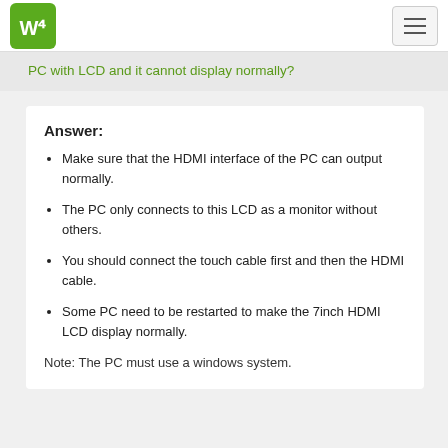WS logo and navigation menu
PC with LCD and it cannot display normally?
Answer:
Make sure that the HDMI interface of the PC can output normally.
The PC only connects to this LCD as a monitor without others.
You should connect the touch cable first and then the HDMI cable.
Some PC need to be restarted to make the 7inch HDMI LCD display normally.
Note: The PC must use a windows system.